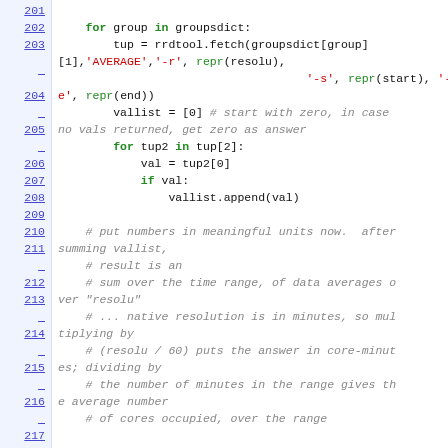[Figure (screenshot): Code listing lines 201-218 showing Python code with syntax highlighting. Keywords in green bold, strings in red, comments in italic gray, line numbers in blue underlined on left margin.]